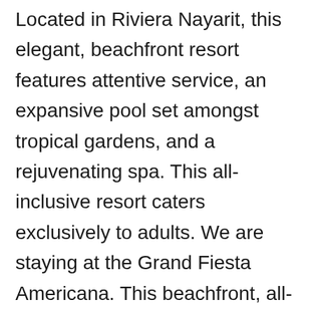Located in Riviera Nayarit, this elegant, beachfront resort features attentive service, an expansive pool set amongst tropical gardens, and a rejuvenating spa. This all-inclusive resort caters exclusively to adults. We are staying at the Grand Fiesta Americana. This beachfront, all-inclusive resort features 229 suites, each with a soaking tub and an outdoor Jacuzzi, three pools, a selection of restaurants, a kids' club, weekly theme parties and a rejuvenating spa. Casa Velas Boutique Hotel - All-Inclusive, Dreams Villamagna Nuevo Vallarta - All-Inclusive, Fiesta Americana Puerto Vallarta Hotel & Spa - All-Inclusive, Grand Velas Riviera Nayarit - All-Inclusive, Marival Distinct Luxury Residences - All-Inclusive, Now Amber Puerto Vallarta - All-Inclusive, Occidental Nuevo Vallarta - All-Inclusive, Secrets Vallarta Bay Puerto Vallarta - All-Inclusive, Velas Vallarta Suite Resort - All-Inclusive, Villa La Estancia Beach Resort & Spa Riviera Nayarit, Villa